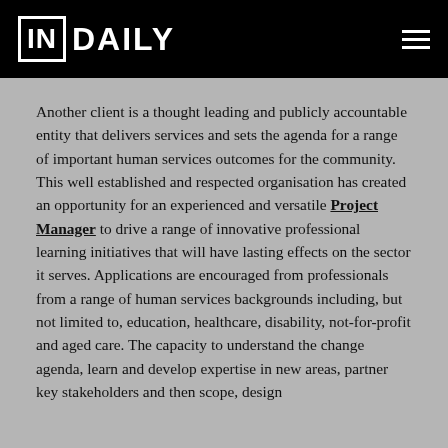IN|DAILY
Another client is a thought leading and publicly accountable entity that delivers services and sets the agenda for a range of important human services outcomes for the community. This well established and respected organisation has created an opportunity for an experienced and versatile Project Manager to drive a range of innovative professional learning initiatives that will have lasting effects on the sector it serves. Applications are encouraged from professionals from a range of human services backgrounds including, but not limited to, education, healthcare, disability, not-for-profit and aged care. The capacity to understand the change agenda, learn and develop expertise in new areas, partner key stakeholders and then scope, design